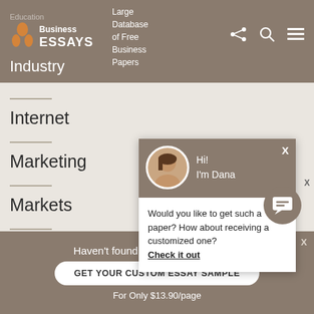Business ESSAYS — Large Database of Free Business Papers
Industry
Internet
Marketing
Markets
Technology
[Figure (screenshot): Chat popup with avatar of Dana saying 'Hi! I'm Dana' and text: 'Would you like to get such a paper? How about receiving a customized one? Check it out']
Haven't found the Essay You Want? GET YOUR CUSTOM ESSAY SAMPLE For Only $13.90/page